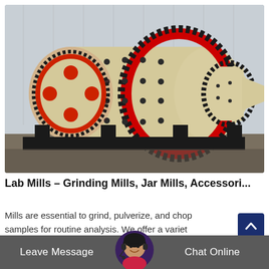[Figure (photo): Industrial ball mill with large gear ring, cream/beige colored cylindrical drum with black bolts, red ring gear, mounted on black metal frame in a factory/warehouse setting. Multiple mill units visible in background.]
Lab Mills – Grinding Mills, Jar Mills, Accessori...
Mills are essential to grind, pulverize, and chop samples for routine analysis. We offer a variet
[Figure (photo): Customer service avatar: woman with headset microphone, dark hair, smiling, circular framed photo with purple/dark border]
Leave Message
Chat Online